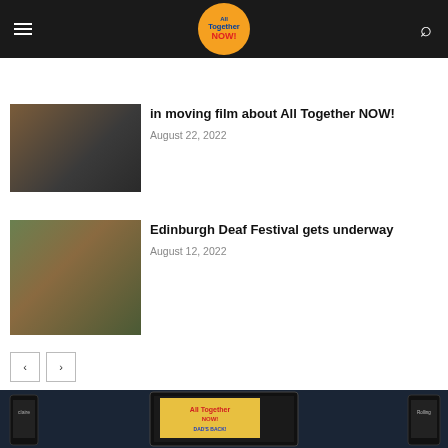All Together NOW! — site header with menu and search icons
[Figure (photo): Person in dark clothing in a yellow chair, with Features label overlay]
in moving film about All Together NOW!
August 22, 2022
[Figure (photo): Group of four people with white gloves outdoors, with Arts label overlay]
Edinburgh Deaf Festival gets underway
August 12, 2022
[Figure (photo): Multiple smartphones displaying various magazine covers and publications including All Together NOW!]